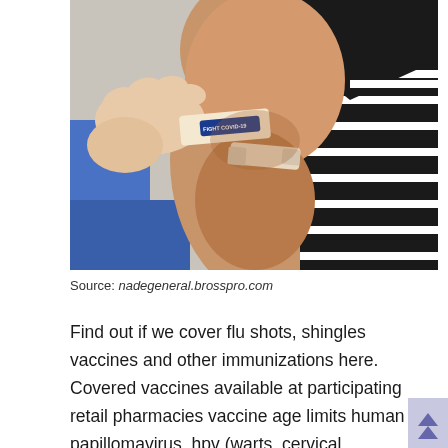[Figure (photo): Close-up photo of a person's arm receiving a vaccine or having a bandage applied. The person wears a black and white striped sleeveless top. A hand is placing a bandage labeled 'FIGHT COVID-19' on the upper arm. Background includes a blue element. The bandage is dark blue with white text.]
Source: nadegeneral.brosspro.com
Find out if we cover flu shots, shingles vaccines and other immunizations here. Covered vaccines available at participating retail pharmacies vaccine age limits human papillomavirus, hpv (warts, cervical